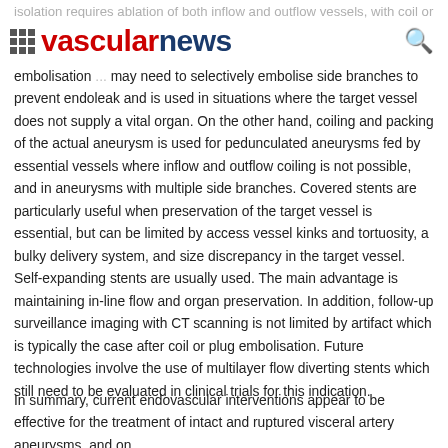vascular news
isolation requires ablation of both inflow and outflow vessels, with coil or embolisation ... may need to selectively embolise side branches to prevent endoleak and is used in situations where the target vessel does not supply a vital organ. On the other hand, coiling and packing of the actual aneurysm is used for pedunculated aneurysms fed by essential vessels where inflow and outflow coiling is not possible, and in aneurysms with multiple side branches. Covered stents are particularly useful when preservation of the target vessel is essential, but can be limited by access vessel kinks and tortuosity, a bulky delivery system, and size discrepancy in the target vessel. Self-expanding stents are usually used. The main advantage is maintaining in-line flow and organ preservation. In addition, follow-up surveillance imaging with CT scanning is not limited by artifact which is typically the case after coil or plug embolisation. Future technologies involve the use of multilayer flow diverting stents which still need to be evaluated in clinical trials for this indication.
In summary, current endovascular interventions appear to be effective for the treatment of intact and ruptured visceral artery aneurysms, and on